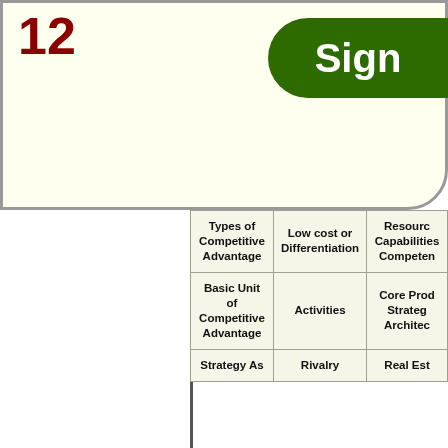12
Sign
| Types of Competitive Advantage | Low cost or Differentiation | Resources Capabilities Competencies |
| Basic Unit of Competitive Advantage | Activities | Core Products Strategic Architecture |
| Strategy As | Rivalry | Real Estate |